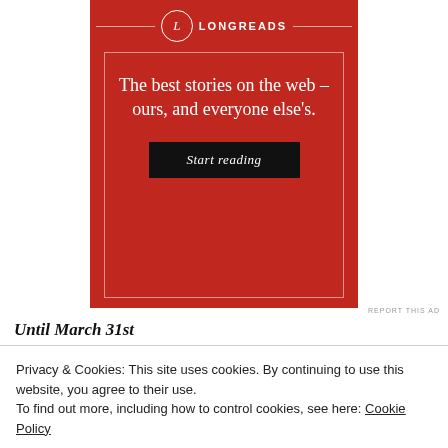[Figure (logo): Longreads advertisement banner on red background with logo, tagline 'The best stories on the web – ours, and everyone else's.' and a 'Start reading' button]
REPORT THIS AD
Until March 31st
Privacy & Cookies: This site uses cookies. By continuing to use this website, you agree to their use.
To find out more, including how to control cookies, see here: Cookie Policy
Close and accept